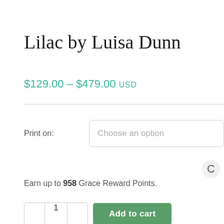Lilac by Luisa Dunn
$129.00 – $479.00 USD
Print on: Choose an option
Earn up to 958 Grace Reward Points.
1  Add to cart